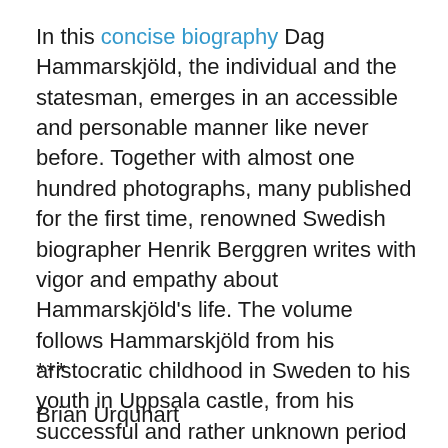In this concise biography Dag Hammarskjöld, the individual and the statesman, emerges in an accessible and personable manner like never before. Together with almost one hundred photographs, many published for the first time, renowned Swedish biographer Henrik Berggren writes with vigor and empathy about Hammarskjöld's life. The volume follows Hammarskjöld from his aristocratic childhood in Sweden to his youth in Uppsala castle, from his successful and rather unknown period as a Swedish civil servant to his illustrious time as head of the United Nations.
***
Brian Urquhart